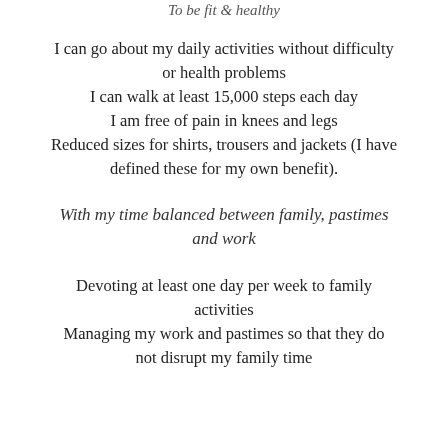To be fit & healthy
I can go about my daily activities without difficulty or health problems
I can walk at least 15,000 steps each day
I am free of pain in knees and legs
Reduced sizes for shirts, trousers and jackets (I have defined these for my own benefit).
With my time balanced between family, pastimes and work
Devoting at least one day per week to family activities
Managing my work and pastimes so that they do not disrupt my family time